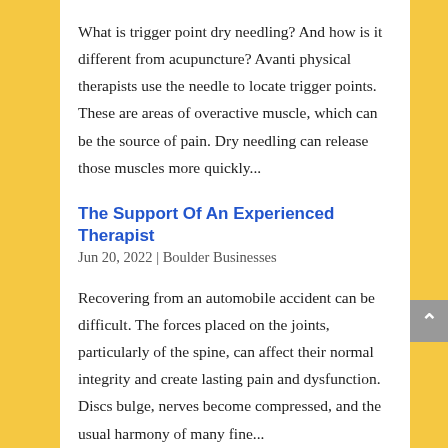What is trigger point dry needling? And how is it different from acupuncture? Avanti physical therapists use the needle to locate trigger points. These are areas of overactive muscle, which can be the source of pain. Dry needling can release those muscles more quickly...
The Support Of An Experienced Therapist
Jun 20, 2022 | Boulder Businesses
Recovering from an automobile accident can be difficult. The forces placed on the joints, particularly of the spine, can affect their normal integrity and create lasting pain and dysfunction. Discs bulge, nerves become compressed, and the usual harmony of many fine...